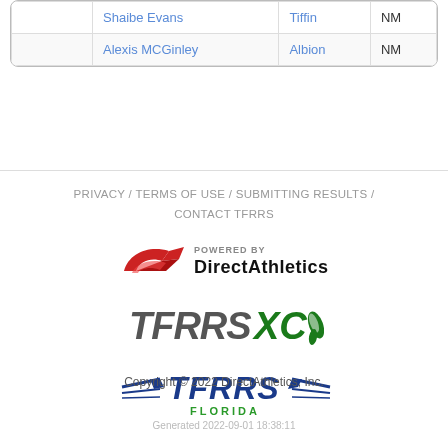|  | Name | Team | Result |
| --- | --- | --- | --- |
|  | Shaibe Evans | Tiffin | NM |
|  | Alexis MCGinley | Albion | NM |
PRIVACY / TERMS OF USE / SUBMITTING RESULTS / CONTACT TFRRS
[Figure (logo): Powered by DirectAthletics logo with red swoosh]
[Figure (logo): TFRRSXC logo in dark grey and green with wing symbol]
[Figure (logo): TFRRS Florida logo in blue with wing symbols]
Copyright © 2022 DirectAthletics, Inc.
Generated 2022-09-01 18:38:11